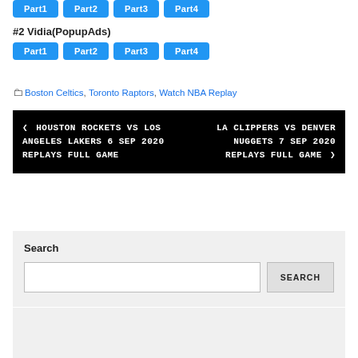Part1  Part2  Part3  Part4 (top row buttons, cut off at top)
#2 Vidia(PopupAds)
Part1  Part2  Part3  Part4 (second row buttons)
Boston Celtics, Toronto Raptors, Watch NBA Replay
< HOUSTON ROCKETS VS LOS ANGELES LAKERS 6 SEP 2020 REPLAYS FULL GAME    LA CLIPPERS VS DENVER NUGGETS 7 SEP 2020 REPLAYS FULL GAME >
Search
Search input and SEARCH button